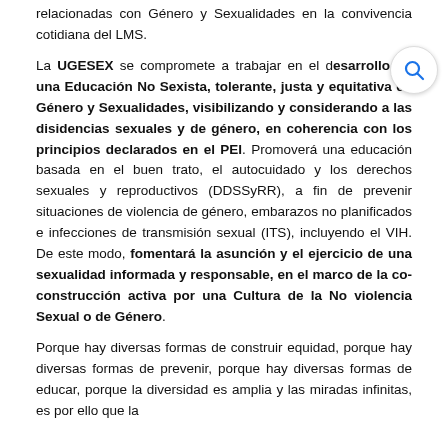relacionadas con Género y Sexualidades en la convivencia cotidiana del LMS.
La UGESEX se compromete a trabajar en el desarrollo de una Educación No Sexista, tolerante, justa y equitativa en Género y Sexualidades, visibilizando y considerando a las disidencias sexuales y de género, en coherencia con los principios declarados en el PEI. Promoverá una educación basada en el buen trato, el autocuidado y los derechos sexuales y reproductivos (DDSSyRR), a fin de prevenir situaciones de violencia de género, embarazos no planificados e infecciones de transmisión sexual (ITS), incluyendo el VIH. De este modo, fomentará la asunción y el ejercicio de una sexualidad informada y responsable, en el marco de la co- construcción activa por una Cultura de la No violencia Sexual o de Género.
Porque hay diversas formas de construir equidad, porque hay diversas formas de prevenir, porque hay diversas formas de educar, porque la diversidad es amplia y las miradas infinitas, es por ello que la